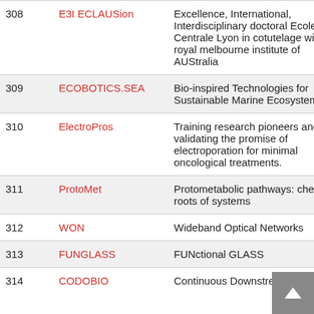| # | Name | Description |
| --- | --- | --- |
| 308 | E3I ECLAUSion | Excellence, International, Interdisciplinary doctoral Ecole Centrale Lyon in cotutelage with royal melbourne institute of AUStralia |
| 309 | ECOBOTICS.SEA | Bio-inspired Technologies for Sustainable Marine Ecosystems |
| 310 | ElectroPros | Training research pioneers and validating the promise of electroporation for minimal oncological treatments. |
| 311 | ProtoMet | Protometabolic pathways: chemical roots of systems |
| 312 | WON | Wideband Optical Networks |
| 313 | FUNGLASS | FUNctional GLASS |
| 314 | CODOBIO | Continuous Downstream |